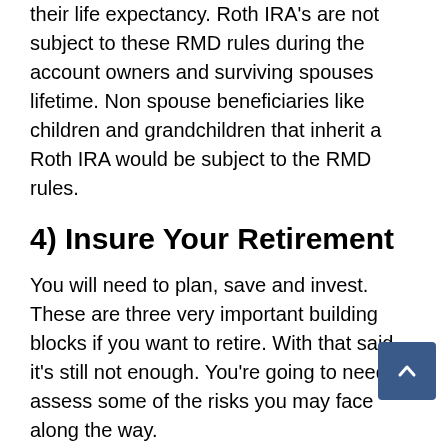their life expectancy. Roth IRA's are not subject to these RMD rules during the account owners and surviving spouses lifetime. Non spouse beneficiaries like children and grandchildren that inherit a Roth IRA would be subject to the RMD rules.
4) Insure Your Retirement
You will need to plan, save and invest. These are three very important building blocks if you want to retire. With that said, it's still not enough. You're going to need to assess some of the risks you may face along the way.
If you have a ...